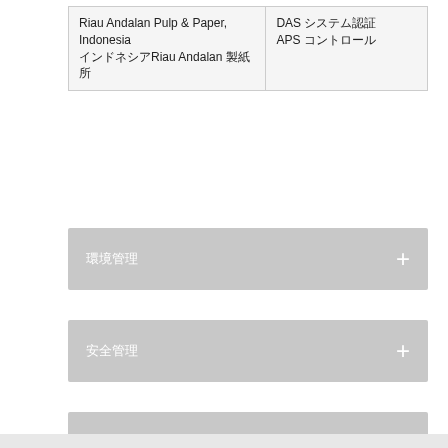| Riau Andalan Pulp & Paper, Indonesia
インドネシアRiau Andalan 製紙所 | DAS システム認証
APS コントロール |
環境管理
安全管理
収益